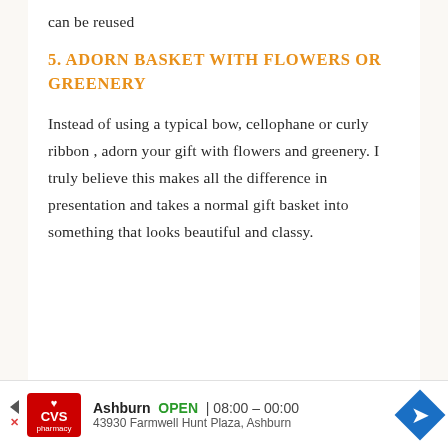can be reused
5. ADORN BASKET WITH FLOWERS OR GREENERY
Instead of using a typical bow, cellophane or curly ribbon , adorn your gift with flowers and greenery. I truly believe this makes all the difference in presentation and takes a normal gift basket into something that looks beautiful and classy.
[Figure (other): CVS Pharmacy advertisement bar showing store location in Ashburn, open hours 08:00-00:00, address 43930 Farmwell Hunt Plaza, Ashburn]